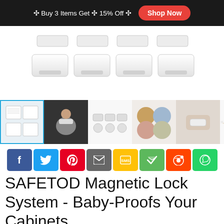✣ Buy 3 Items Get ✣ 15% Off ✣  Shop Now
[Figure (photo): Product photo showing 8 white magnetic cabinet lock pieces arranged in two rows - 4 smaller top pieces and 4 larger bottom pieces with rounded rectangular shape]
[Figure (photo): Thumbnail strip showing 6 product images: (1) selected - instruction sheet with blue border, (2) person installing lock, (3) lock components laid out, (4) assorted product photos, (5) close-up of lock mechanism held by hand, (6) white lock component pieces]
[Figure (infographic): Social sharing buttons row: Facebook (blue), Twitter (light blue), Pinterest (red), Email (gray), SMS (yellow), Share (green), Reddit (orange-red), WhatsApp (green)]
SAFETOD Magnetic Lock System - Baby-Proofs Your Cabinets